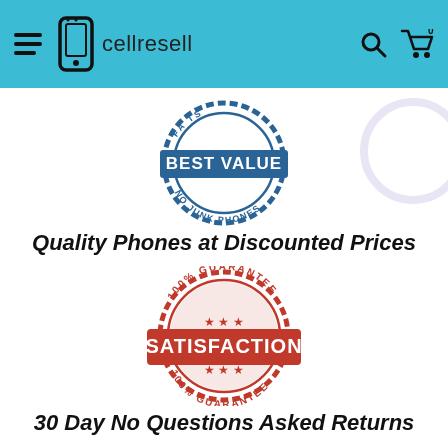cellresell
[Figure (logo): Best Value stamp badge - circular stamp reading BEST VALUE / NO JUNK PHONES]
Quality Phones at Discounted Prices
[Figure (illustration): 100% Guarantee Satisfaction stamp - red circular stamp reading 100% GUARANTEE SATISFACTION 100% GUARANTEE]
30 Day No Questions Asked Returns